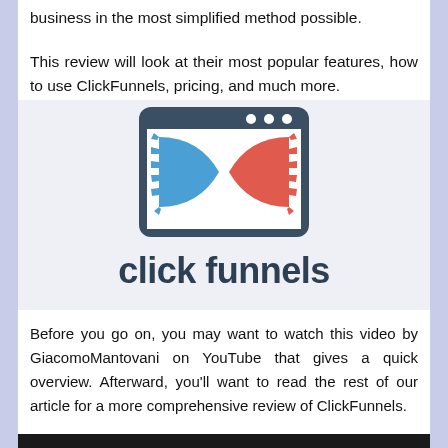business in the most simplified method possible.

This review will look at their most popular features, how to use ClickFunnels, pricing, and much more.
[Figure (logo): ClickFunnels logo: a browser window icon with blue and red hourglass/funnel shapes, with the text 'click funnels' in dark blue below]
Before you go on, you may want to watch this video by GiacomoMantovani on YouTube that gives a quick overview. Afterward, you'll want to read the rest of our article for a more comprehensive review of ClickFunnels.
[Figure (screenshot): Bottom portion of a dark video thumbnail]